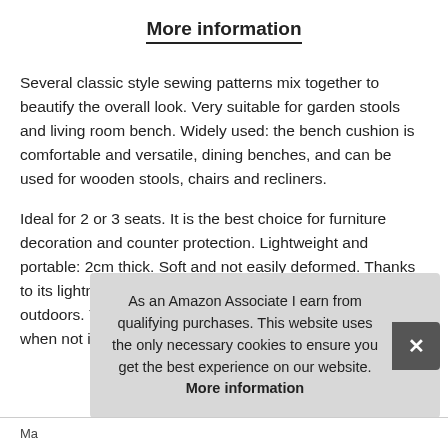More information
Several classic style sewing patterns mix together to beautify the overall look. Very suitable for garden stools and living room bench. Widely used: the bench cushion is comfortable and versatile, dining benches, and can be used for wooden stools, chairs and recliners.
Ideal for 2 or 3 seats. It is the best choice for furniture decoration and counter protection. Lightweight and portable: 2cm thick. Soft and not easily deformed. Thanks to its lightness, the cushion can be used both indoors and outdoors. You can take it on the road or store it properly when not in use
As an Amazon Associate I earn from qualifying purchases. This website uses the only necessary cookies to ensure you get the best experience on our website. More information
Ma